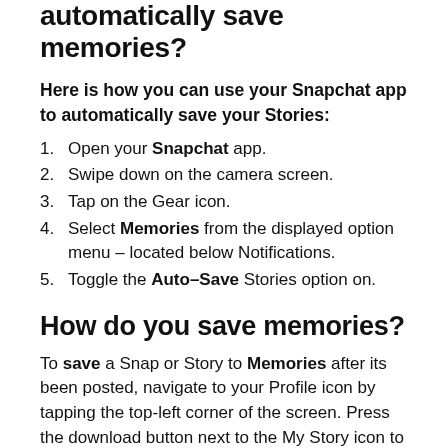automatically save memories?
Here is how you can use your Snapchat app to automatically save your Stories:
Open your Snapchat app.
Swipe down on the camera screen.
Tap on the Gear icon.
Select Memories from the displayed option menu – located below Notifications.
Toggle the Auto–Save Stories option on.
How do you save memories?
To save a Snap or Story to Memories after its been posted, navigate to your Profile icon by tapping the top-left corner of the screen. Press the download button next to the My Story icon to